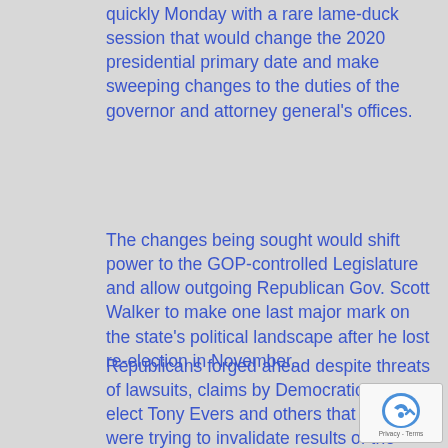quickly Monday with a rare lame-duck session that would change the 2020 presidential primary date and make sweeping changes to the duties of the governor and attorney general's offices.
The changes being sought would shift power to the GOP-controlled Legislature and allow outgoing Republican Gov. Scott Walker to make one last major mark on the state's political landscape after he lost re-election in November.
Republicans forged ahead despite threats of lawsuits, claims by Democratic Gov.-elect Tony Evers and others that they were trying to invalidate results of the November election and howls of protest from hundreds of people who showed up for a public hearing.
The lame-duck maneuvering in Wisconsin is similar to what Republicans did in North Carolina two years ago and is being discussed in Michigan before a Democratic